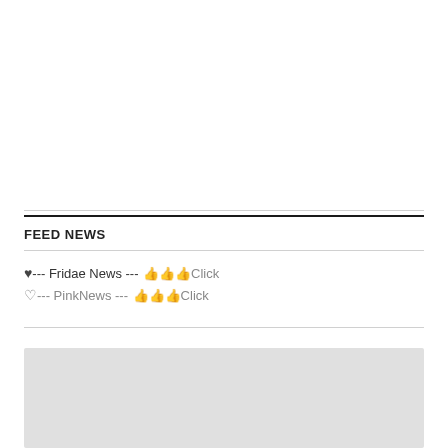FEED NEWS
♥--- Fridae News --- 👍👍👍Click
♡--- PinkNews --- 👍👍👍Click
[Figure (other): Gray placeholder image block at bottom of page]